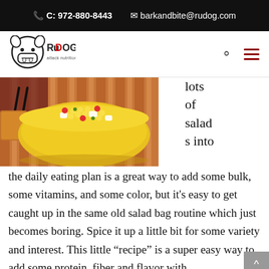C: 972-880-8443   barkandbite@rudog.com
[Figure (logo): RUDOG attack nutrition logo — stylized dog head with text]
[Figure (photo): Yellow bowl filled with colorful salad (corn, tomatoes, white beans) on a striped bamboo mat with chopsticks and orange cup]
lots of salads into the daily eating plan is a great way to add some bulk, some vitamins, and some color, but it's easy to get caught up in the same old salad bag routine which just becomes boring. Spice it up a little bit for some variety and interest. This little “recipe” is a super easy way to add some protein, fiber and flavor with